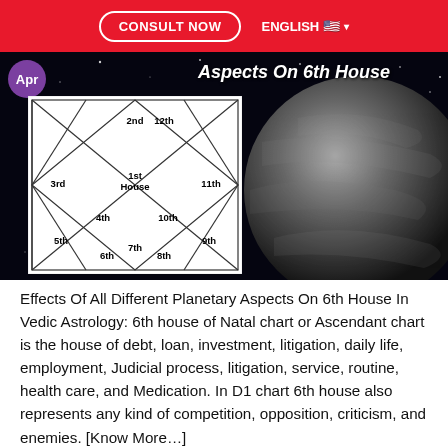CONSULT NOW   ENGLISH 🇺🇸 ▾
[Figure (infographic): Vedic astrology image with star/space background, a purple 'Apr' badge, title 'Aspects On 6th House', a Vedic natal chart diagram on the left showing houses 1st through 12th, and a large planet on the right.]
Effects Of All Different Planetary Aspects On 6th House In Vedic Astrology: 6th house of Natal chart or Ascendant chart is the house of debt, loan, investment, litigation, daily life, employment, Judicial process, litigation, service, routine, health care, and Medication. In D1 chart 6th house also represents any kind of competition, opposition, criticism, and enemies. [Know More…]